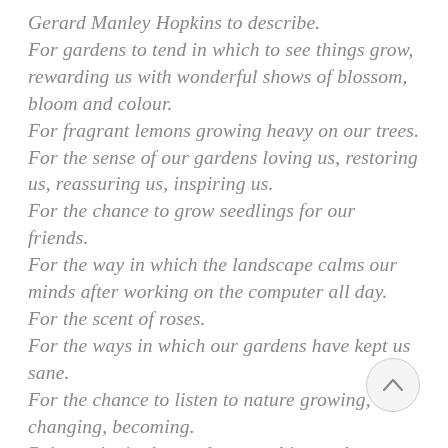Gerard Manley Hopkins to describe. For gardens to tend in which to see things grow, rewarding us with wonderful shows of blossom, bloom and colour. For fragrant lemons growing heavy on our trees. For the sense of our gardens loving us, restoring us, reassuring us, inspiring us. For the chance to grow seedlings for our friends. For the way in which the landscape calms our minds after working on the computer all day. For the scent of roses. For the ways in which our gardens have kept us sane. For the chance to listen to nature growing, changing, becoming. Being quiet in the garden, watching and
[Figure (other): A circular back-to-top navigation button with an upward-pointing chevron arrow, outlined in light grey on a light grey background.]